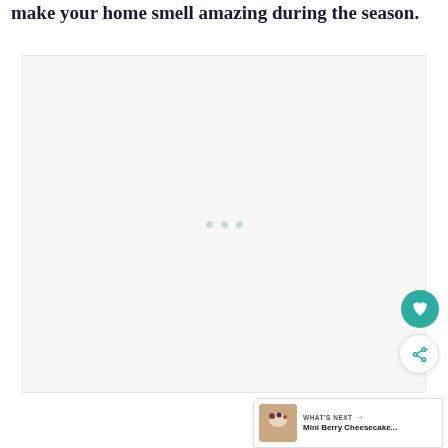make your home smell amazing during the season.
[Figure (other): Large light grey advertisement placeholder box with three small grey dots centered, indicating loading or ad content]
WHAT'S NEXT → Mini Berry Cheesecake...